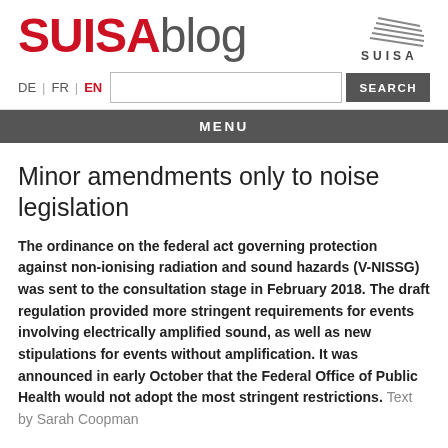SUISAblog
[Figure (logo): SUISA logo with diagonal lines graphic and SUISA text below]
DE | FR | EN  [search box]  SEARCH
MENU
Minor amendments only to noise legislation
The ordinance on the federal act governing protection against non-ionising radiation and sound hazards (V-NISSG) was sent to the consultation stage in February 2018. The draft regulation provided more stringent requirements for events involving electrically amplified sound, as well as new stipulations for events without amplification. It was announced in early October that the Federal Office of Public Health would not adopt the most stringent restrictions. Text by Sarah Coopman